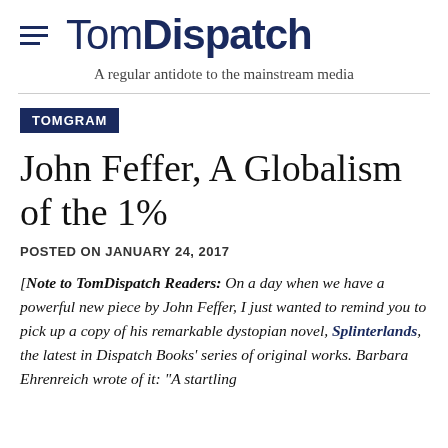TomDispatch — A regular antidote to the mainstream media
TOMGRAM
John Feffer, A Globalism of the 1%
POSTED ON JANUARY 24, 2017
[Note to TomDispatch Readers: On a day when we have a powerful new piece by John Feffer, I just wanted to remind you to pick up a copy of his remarkable dystopian novel, Splinterlands, the latest in Dispatch Books' series of original works. Barbara Ehrenreich wrote of it: "A startling portrait of a world in..."